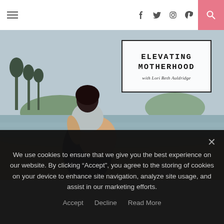Navigation header with hamburger menu, social icons (f, twitter, instagram, pinterest), and pink search button
[Figure (photo): Pregnant woman in floral skirt and gray top standing on beach, smiling down at a toddler reaching up toward her. Beach and palm trees in background. Overlay logo box reads 'ELEVATING MOTHERHOOD with Lori Beth Auldridge'.]
We use cookies to ensure that we give you the best experience on our website. By clicking “Accept”, you agree to the storing of cookies on your device to enhance site navigation, analyze site usage, and assist in our marketing efforts.
Accept
Decline
Read More